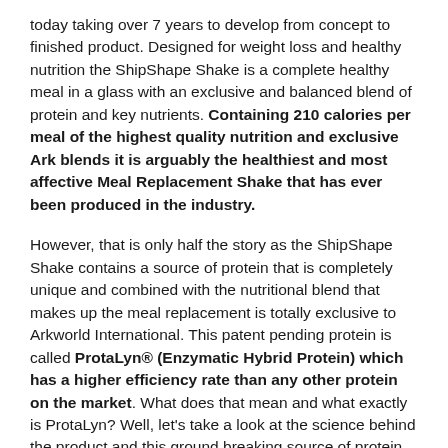today taking over 7 years to develop from concept to finished product. Designed for weight loss and healthy nutrition the ShipShape Shake is a complete healthy meal in a glass with an exclusive and balanced blend of protein and key nutrients. Containing 210 calories per meal of the highest quality nutrition and exclusive Ark blends it is arguably the healthiest and most affective Meal Replacement Shake that has ever been produced in the industry.
However, that is only half the story as the ShipShape Shake contains a source of protein that is completely unique and combined with the nutritional blend that makes up the meal replacement is totally exclusive to Arkworld International. This patent pending protein is called ProtaLyn® (Enzymatic Hybrid Protein) which has a higher efficiency rate than any other protein on the market. What does that mean and what exactly is ProtaLyn? Well, let's take a look at the science behind the product and this ground breaking source of protein in more detail...